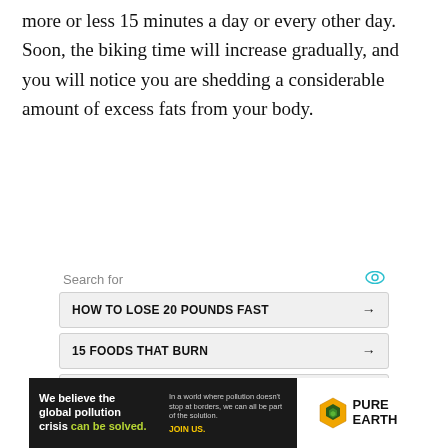more or less 15 minutes a day or every other day. Soon, the biking time will increase gradually, and you will notice you are shedding a considerable amount of excess fats from your body.
[Figure (screenshot): Sponsored search ad widget with eye icon and five search result tiles: HOW TO LOSE 20 POUNDS FAST, 15 FOODS THAT BURN, TIPS TO BURN STOMACH FAT, BEST WAY BURN STOMACH FAT, HOW TO LOSE BELLY WEIGHT, each with a right arrow]
[Figure (screenshot): Pure Earth banner advertisement: 'We believe the global pollution crisis can be solved.' with body text and JOIN US link on black background, Pure Earth logo on white right side]